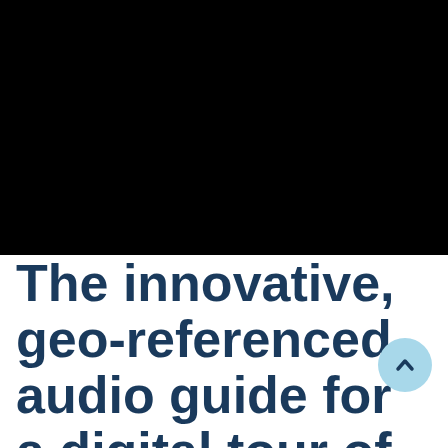Notice
We and selected third parties use cookies or similar technologies for technical purposes and, with your consent, for other purposes as specified in the cookie policy. Denying consent may make related features unavailable. You can consent to the use of such technologies by closing this notice, by scrolling this page, by interacting with any link or button outside of this notice or by continuing to browse otherwise.
The innovative, geo-referenced audio guide for a digital tour of